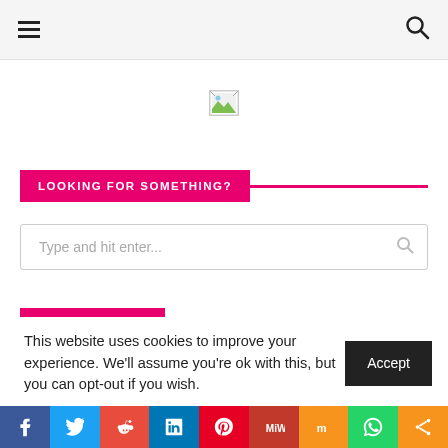Navigation header with hamburger menu and search icon
[Figure (photo): Broken/missing image placeholder centered on page]
LOOKING FOR SOMETHING?
Type and hit enter...
RECOMMENDED
This website uses cookies to improve your experience. We'll assume you're ok with this, but you can opt-out if you wish.
Accept
Social share bar: Facebook, Twitter, Reddit, LinkedIn, Pinterest, MeWe, Mix, WhatsApp, Share